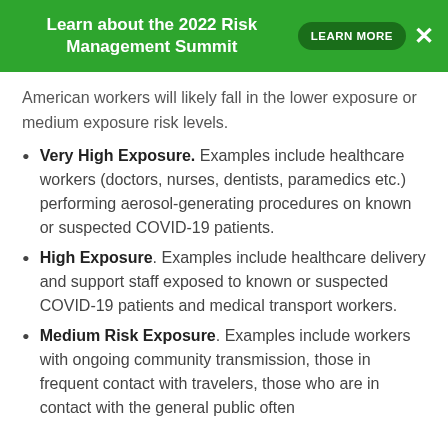Learn about the 2022 Risk Management Summit | LEARN MORE | X
American workers will likely fall in the lower exposure or medium exposure risk levels.
Very High Exposure. Examples include healthcare workers (doctors, nurses, dentists, paramedics etc.) performing aerosol-generating procedures on known or suspected COVID-19 patients.
High Exposure. Examples include healthcare delivery and support staff exposed to known or suspected COVID-19 patients and medical transport workers.
Medium Risk Exposure. Examples include workers with ongoing community transmission, those in frequent contact with travelers, those who are in contact with the general public often